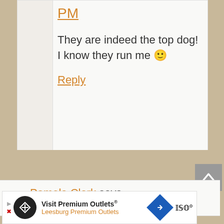PM
They are indeed the top dog! I know they run me 🙂
Reply
Pamela Clark says
November 23, 2019 at 11:45
Visit Premium Outlets® Leesburg Premium Outlets